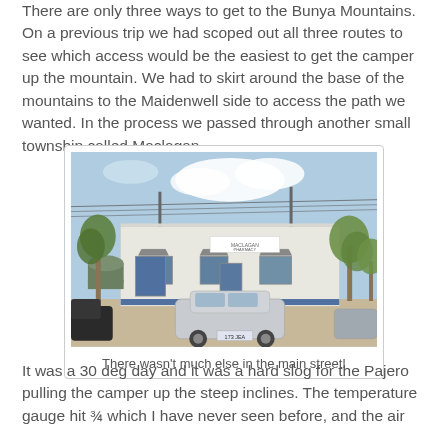There are only three ways to get to the Bunya Mountains. On a previous trip we had scoped out all three routes to see which access would be the easiest to get the camper up the mountain. We had to skirt around the base of the mountains to the Maidenwell side to access the path we wanted. In the process we passed through another small township called Maclagan
[Figure (photo): Photo of a white brick building (Maclagan township main street) with a parked silver car in the foreground, trees on the sides, and a blue sky with clouds in the background.]
There wasn't much else in the main street!
It was a 30 deg day and it was a hard slog for the Pajero pulling the camper up the steep inclines. The temperature gauge hit 3⁄4 which I have never seen before, and the air...